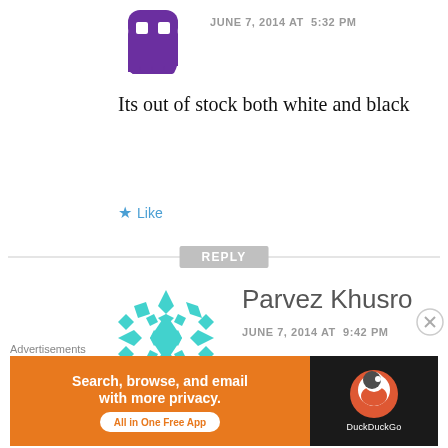[Figure (illustration): Purple ghost/skull avatar icon for anonymous commenter]
JUNE 7, 2014 AT  5:32 PM
Its out of stock both white and black
★ Like
REPLY
[Figure (illustration): Teal geometric diamond-pattern avatar for Parvez Khusro]
Parvez Khusro
JUNE 7, 2014 AT  9:42 PM
Thanks a lot admin for your efforts. I was finally able to order because o
Advertisements
[Figure (illustration): DuckDuckGo advertisement banner: Search, browse, and email with more privacy. All in One Free App.]